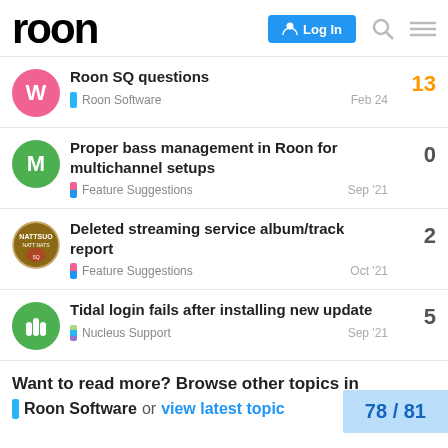roon | Log In
Roon SQ questions | Roon Software | Feb 24 | 13 replies
Proper bass management in Roon for multichannel setups | Feature Suggestions | Sep '21 | 0 replies
Deleted streaming service album/track report | Feature Suggestions | Oct '21 | 2 replies
Tidal login fails after installing new update | Nucleus Support | Sep '21 | 5 replies
Want to read more? Browse other topics in Roon Software or view latest topic
78 / 81